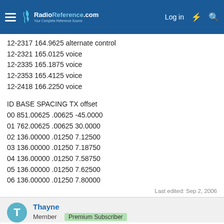RadioReference.com — Log in
12-2317 164.9625 alternate control
12-2321 165.0125 voice
12-2335 165.1875 voice
12-2353 165.4125 voice
12-2418 166.2250 voice
ID BASE SPACING TX offset
00 851.00625 .00625 -45.0000
01 762.00625 .00625 30.0000
02 136.00000 .01250 7.12500
03 136.00000 .01250 7.18750
04 136.00000 .01250 7.58750
05 136.00000 .01250 7.62500
06 136.00000 .01250 7.80000
Last edited: Sep 2, 2006
Thayne
Member  Premium Subscriber